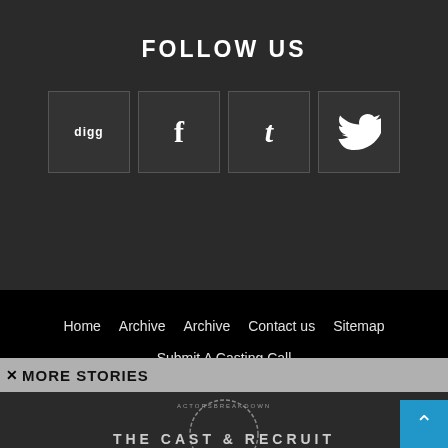FOLLOW US
[Figure (infographic): Four social media icon buttons: digg, Facebook (f), Tumblr (t), Twitter (bird icon)]
Home   Archive   Archive   Contact us   Sitemap   Submit A Casting Call   ©
✕ MORE STORIES
[Figure (photo): Dark background with partial circular logo and text beginning 'THE CAST & RECRUIT']